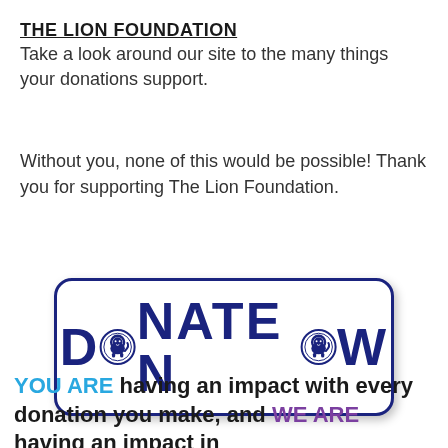THE LION FOUNDATION
Take a look around our site to the many things your donations support.
Without you, none of this would be possible! Thank you for supporting The Lion Foundation.
[Figure (logo): DONATE NOW button with lion foundation seals replacing the O letters, dark navy blue text and border on white background with rounded rectangle border]
YOU ARE having an impact with every donation you make, and WE ARE having an impact in